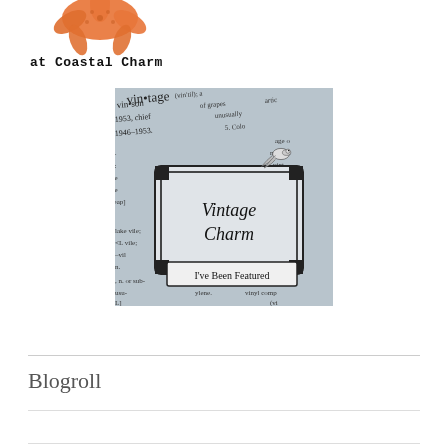[Figure (illustration): Orange starfish illustration at top left, partially cropped]
at Coastal Charm
[Figure (illustration): Vintage Charm badge with dictionary background, a bird illustration, and text 'Vintage Charm' in an ornate frame with 'I've Been Featured' banner below]
Blogroll
A Stroll Thru Life